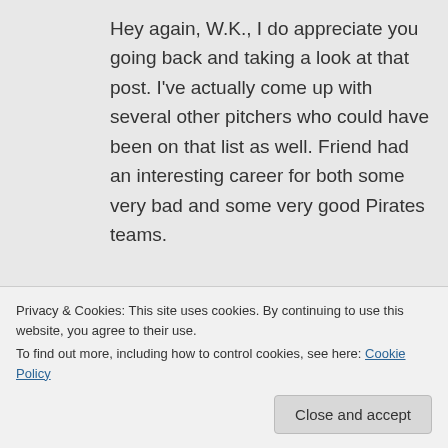Hey again, W.K., I do appreciate you going back and taking a look at that post. I've actually come up with several other pitchers who could have been on that list as well. Friend had an interesting career for both some very bad and some very good Pirates teams.
Thanks again for reading,
Bill
Reply
Privacy & Cookies: This site uses cookies. By continuing to use this website, you agree to their use.
To find out more, including how to control cookies, see here: Cookie Policy
Close and accept
Hey Again, W.K., I appreciate you going